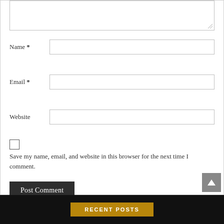Name *
Email *
Website
Save my name, email, and website in this browser for the next time I comment.
Post Comment
RECENT POSTS